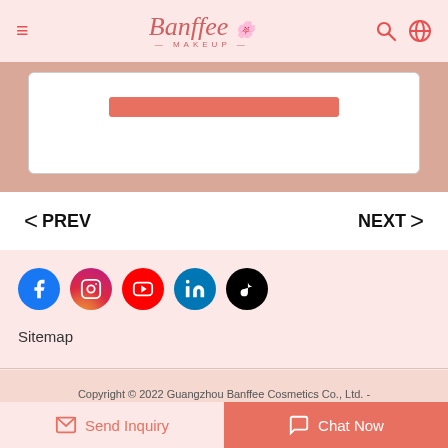Banffee MAKEUP — navigation header with hamburger menu, search, and globe icons
[Figure (screenshot): Partial banner with a salmon/coral colored button bar on white card over peach background]
< PREV    NEXT >
[Figure (infographic): Social media icons: Facebook, Instagram, YouTube, LinkedIn, TikTok]
Sitemap
Copyright © 2022 Guangzhou Banffee Cosmetics Co., Ltd. - www.banffeemakeup.com All Rights Reserved.
Send Inquiry   Chat Now